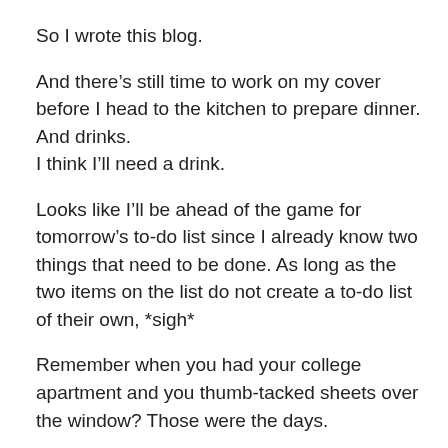So I wrote this blog.
And there's still time to work on my cover before I head to the kitchen to prepare dinner.
And drinks.
I think I'll need a drink.
Looks like I'll be ahead of the game for tomorrow's to-do list since I already know two things that need to be done. As long as the two items on the list do not create a to-do list of their own, *sigh*
Remember when you had your college apartment and you thumb-tacked sheets over the window? Those were the days.
*This post was written several days ago. I've since hung